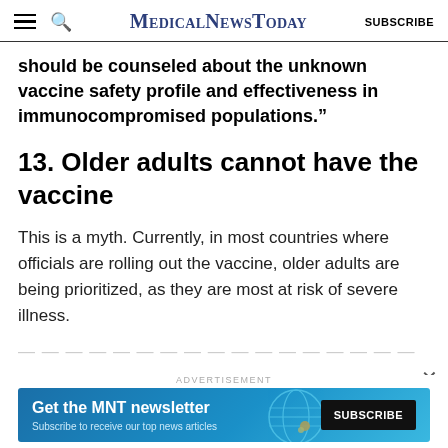MedicalNewsToday SUBSCRIBE
should be counseled about the unknown vaccine safety profile and effectiveness in immunocompromised populations.”
13. Older adults cannot have the vaccine
This is a myth. Currently, in most countries where officials are rolling out the vaccine, older adults are being prioritized, as they are most at risk of severe illness.
ADVERTISEMENT
[Figure (other): MNT newsletter subscription advertisement banner with text 'Get the MNT newsletter' and 'Subscribe to receive our top news articles' and a SUBSCRIBE button]